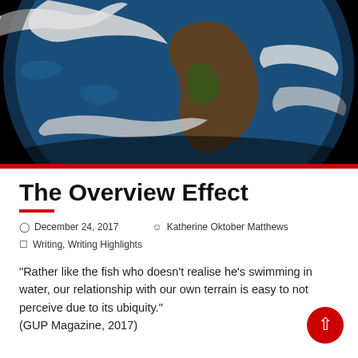[Figure (photo): Photograph of Earth from space showing South America and surrounding oceans, against a black background. The globe shows blue oceans, white cloud formations, and brown/green landmasses.]
The Overview Effect
December 24, 2017   Katherine Oktober Matthews
Writing, Writing Highlights
"Rather like the fish who doesn't realise he's swimming in water, our relationship with our own terrain is easy to not perceive due to its ubiquity."
(GUP Magazine, 2017)